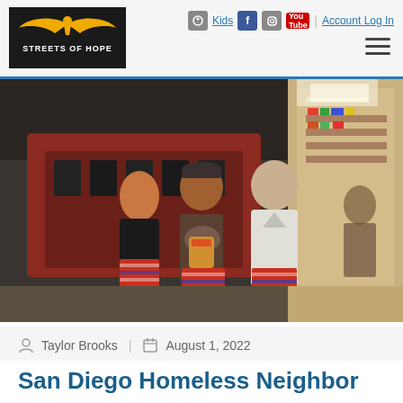Streets of Hope | Kids | Account Log In
[Figure (photo): Three people standing together inside what appears to be a convenience store or laundromat. A woman on the left in a dark top, a man in the center wearing a cap and Hurley shirt holding a bag of snacks, and a man on the right in a white top.]
Taylor Brooks  |  August 1, 2022
San Diego Homeless Neighbor